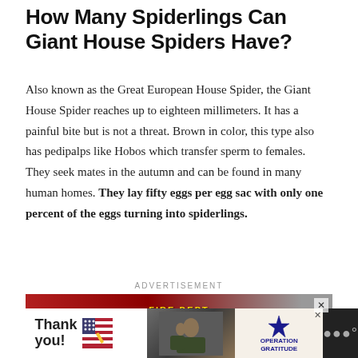How Many Spiderlings Can Giant House Spiders Have?
Also known as the Great European House Spider, the Giant House Spider reaches up to eighteen millimeters. It has a painful bite but is not a threat. Brown in color, this type also has pedipalps like Hobos which transfer sperm to females. They seek mates in the autumn and can be found in many human homes. They lay fifty eggs per egg sac with only one percent of the eggs turning into spiderlings.
[Figure (photo): Advertisement banner showing a group of firefighters in navy uniforms standing in front of a red fire truck labeled FIRE DEPT, with a yellow Olympia marking. Small close button in top right corner.]
[Figure (photo): Bottom advertisement banner showing 'Thank you' text with an American flag graphic on the left, a military photo in the center, and an Operation Gratitude logo on the right, on a dark background.]